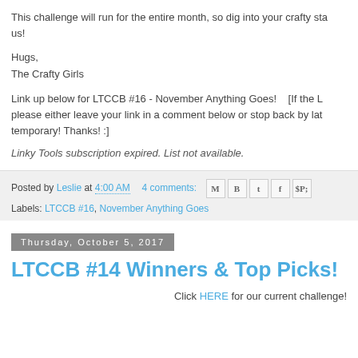This challenge will run for the entire month, so dig into your crafty sta... us!
Hugs,
The Crafty Girls
Link up below for LTCCB #16 - November Anything Goes!    [If the L... please either leave your link in a comment below or stop back by lat... temporary! Thanks! :]
Linky Tools subscription expired. List not available.
Posted by Leslie at 4:00 AM  4 comments:
Labels: LTCCB #16, November Anything Goes
Thursday, October 5, 2017
LTCCB #14 Winners & Top Picks!
Click HERE for our current challenge!